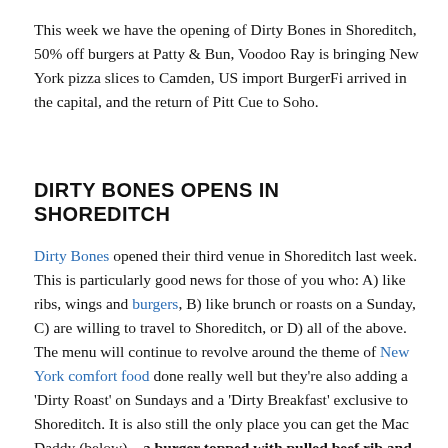This week we have the opening of Dirty Bones in Shoreditch, 50% off burgers at Patty & Bun, Voodoo Ray is bringing New York pizza slices to Camden, US import BurgerFi arrived in the capital, and the return of Pitt Cue to Soho.
DIRTY BONES OPENS IN SHOREDITCH
Dirty Bones opened their third venue in Shoreditch last week. This is particularly good news for those of you who: A) like ribs, wings and burgers, B) like brunch or roasts on a Sunday, C) are willing to travel to Shoreditch, or D) all of the above. The menu will continue to revolve around the theme of New York comfort food done really well but they're also adding a 'Dirty Roast' on Sundays and a 'Dirty Breakfast' exclusive to Shoreditch. It is also still the only place you can get the Mac Daddy (below) – a burger topped with pulled beef rib and mac 'n cheese. That's